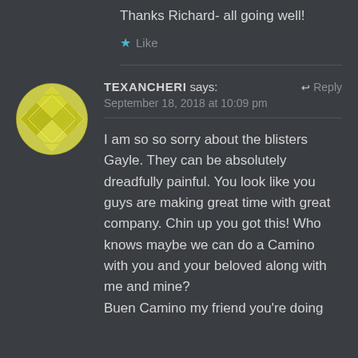Thanks Richard- all going well!
★ Like
TEXANCHERI says:
September 18, 2018 at 10:09 pm
Reply
I am so so sorry about the blisters Gayle. They can be absolutely dreadfully painful. You look like you guys are making great time with great company. Chin up you got this! Who knows maybe we can do a Camino with you and your beloved along with me and mine?
Buen Camino my friend you're doing